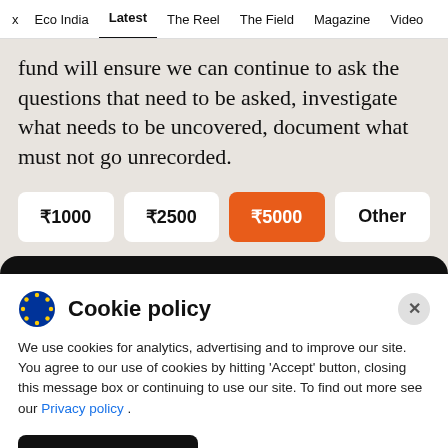x  Eco India  Latest  The Reel  The Field  Magazine  Video
fund will ensure we can continue to ask the questions that need to be asked, investigate what needs to be uncovered, document what must not go unrecorded.
₹1000
₹2500
₹5000
Other
Cookie policy
We use cookies for analytics, advertising and to improve our site. You agree to our use of cookies by hitting 'Accept' button, closing this message box or continuing to use our site. To find out more see our Privacy policy .
Accept